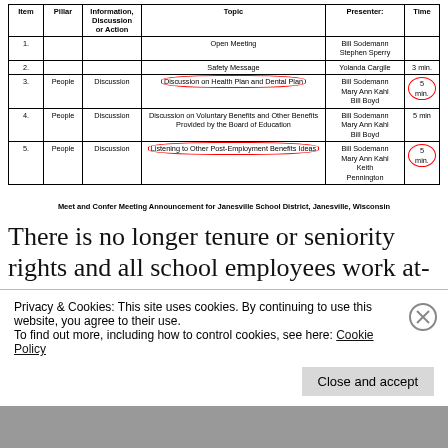| Item | Pillar | Information, Discussion or Action | Topic | Presenter: | Time |
| --- | --- | --- | --- | --- | --- |
| 1. |  |  | Open Meeting | Bill Sodemann
Stephen Sperry |  |
| 2. |  |  | Safety Message | Yolanda Cargile | 3 min. |
| 3. | People | Discussion | Discussion on Health Plan and Dental Plan | Bill Sodemann
Mary Ann Kahl
Bill Boyd | 5 min. |
| 4. | People | Discussion | Discussion on Voluntary Benefits and Other Benefits Provided by the Board of Education | Bill Sodemann
Mary Ann Kahl
Bill Boyd | 5 min |
| 5. | People | Discussion | Listening to Other Post-Employment Benefits Ideas | Bill Sodemann
Mary Ann Kahl
Keith Pennington | 5 min. |
Meet and Confer Meeting Announcement for Janesville School District, Janesville, Wisconsin
There is no longer tenure or seniority rights and all school employees work at-will. Wisconsin school employees have no
Privacy & Cookies: This site uses cookies. By continuing to use this website, you agree to their use.
To find out more, including how to control cookies, see here: Cookie Policy
Close and accept